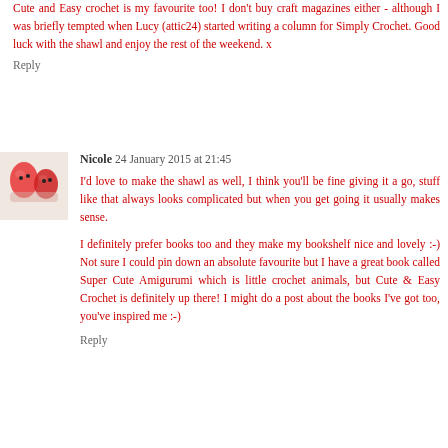Cute and Easy crochet is my favourite too! I don't buy craft magazines either - although I was briefly tempted when Lucy (attic24) started writing a column for Simply Crochet. Good luck with the shawl and enjoy the rest of the weekend. x
Reply
Nicole  24 January 2015 at 21:45
I'd love to make the shawl as well, I think you'll be fine giving it a go, stuff like that always looks complicated but when you get going it usually makes sense.
I definitely prefer books too and they make my bookshelf nice and lovely :-) Not sure I could pin down an absolute favourite but I have a great book called Super Cute Amigurumi which is little crochet animals, but Cute & Easy Crochet is definitely up there! I might do a post about the books I've got too, you've inspired me :-)
Reply